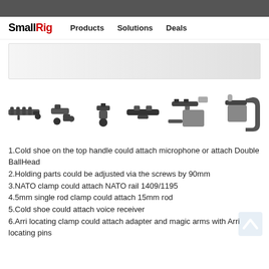SmallRig | Products | Solutions | Deals
[Figure (photo): SmallRig website navigation bar with logo and menu items: Products, Solutions, Deals]
[Figure (photo): Six product images showing SmallRig camera accessories: top handle, NATO clamp, cold shoe mounts, rod clamps, and camera rig assemblies]
1.Cold shoe on the top handle could attach microphone or attach Double BallHead
2.Holding parts could be adjusted via the screws by 90mm
3.NATO clamp could attach NATO rail 1409/1195
4.5mm single rod clamp could attach 15mm rod
5.Cold shoe could attach voice receiver
6.Arri locating clamp could attach adapter and magic arms with Arri locating pins